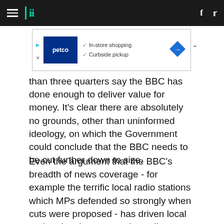HuffPost navigation header with hamburger menu, logo, Facebook and Twitter icons
[Figure (other): Petco advertisement banner showing in-store shopping and curbside pickup options]
than three quarters say the BBC has done enough to deliver value for money. It's clear there are absolutely no grounds, other than uninformed ideology, on which the Government could conclude that the BBC needs to be cut further down to size.
Even the argument that the BBC's breadth of news coverage - for example the terrific local radio stations which MPs defended so strongly when cuts were proposed - has driven local and regional papers to the wall - even that does not stand up to serious scrutiny. Local and regional